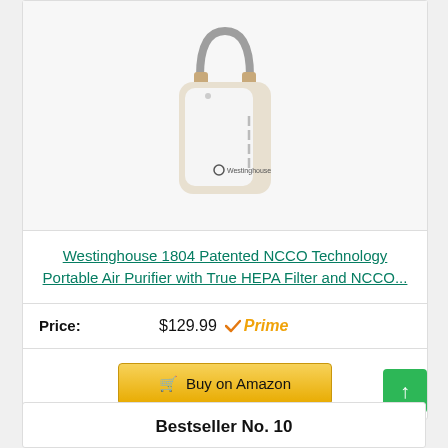[Figure (photo): Westinghouse portable air purifier with handle, white and beige body with Westinghouse logo]
Westinghouse 1804 Patented NCCO Technology Portable Air Purifier with True HEPA Filter and NCCO...
Price: $129.99 Prime
[Figure (other): Buy on Amazon button with cart icon]
Bestseller No. 10